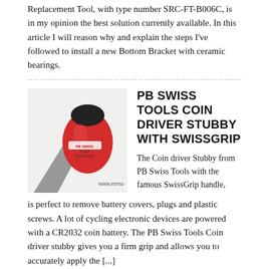Replacement Tool, with type number SRC-FT-B006C, is in my opinion the best solution currently available. In this article I will reason why and explain the steps I've followed to install a new Bottom Bracket with ceramic bearings.
[Figure (photo): Photo of a PB Swiss Tools Coin Driver Stubby screwdriver with red SwissGrip handle and black cap, with watermark 'www.remo']
PB SWISS TOOLS COIN DRIVER STUBBY WITH SWISSGRIP
The Coin driver Stubby from PB Swiss Tools with the famous SwissGrip handle, is perfect to remove battery covers, plugs and plastic screws. A lot of cycling electronic devices are powered with a CR2032 coin battery. The PB Swiss Tools Coin driver stubby gives you a firm grip and allows you to accurately apply the [...]
[Figure (photo): Partial photo at bottom of page, cropped]
SPOKE WORKS